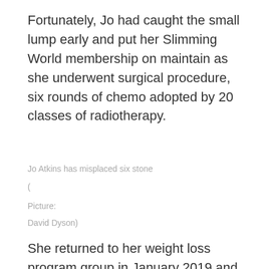Fortunately, Jo had caught the small lump early and put her Slimming World membership on maintain as she underwent surgical procedure, six rounds of chemo adopted by 20 classes of radiotherapy.
Jo Atkins has misplaced six stone
(
Picture:
David Dyson)
She returned to her weight loss program group in January 2019 and slimmed to a measurement 8-10, dropping 6st 4lbs in all. Jo is now 8st 7lbs and loves life with Steve and their children Aaron, 33, and Leah, 31.
And Jo additionally now runs her personal Slimming World group. She added: “Due to what it’s performed for me, I actually need to assist different folks.”